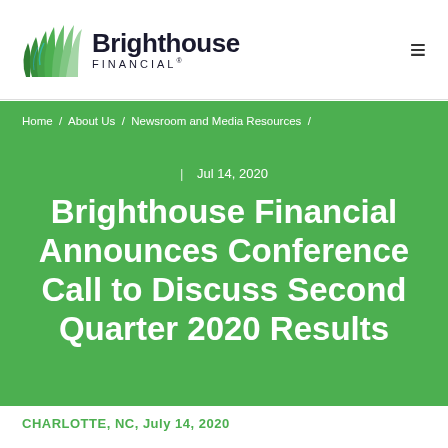Brighthouse Financial
Home / About Us / Newsroom and Media Resources /
| Jul 14, 2020
Brighthouse Financial Announces Conference Call to Discuss Second Quarter 2020 Results
CHARLOTTE, NC, July 14, 2020